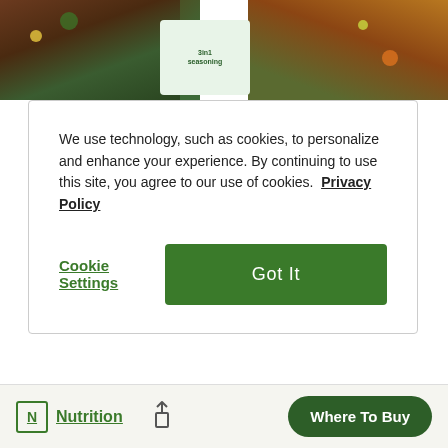[Figure (photo): Food photo background showing bowl of soup/stew with vegetables and a product package in the center, at the top of the page]
We use technology, such as cookies, to personalize and enhance your experience. By continuing to use this site, you agree to our use of cookies. Privacy Policy
Cookie Settings
Got It
HOMESTYLE SHAKER
Shake with confidence. Be unapologetic in your intention to add exceptional flavor with this Homestyle blend of herbs and spices. You're only limited by your imagination when it comes to finding...
Nutrition
Where To Buy